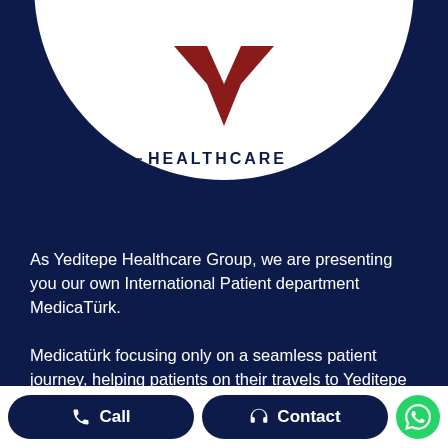[Figure (logo): Yeditepe Healthcare logo — red stylized Y chevron mark above 'HEALTHCARE' text in dark navy, displayed inside a white circle on a dark navy background]
As Yeditepe Healthcare Group, we are presenting you our own International Patient department MedicaTürk.
Medicatürk focusing only on a seamless patient journey, helping patients on their travels to Yeditepe from
Call
Contact